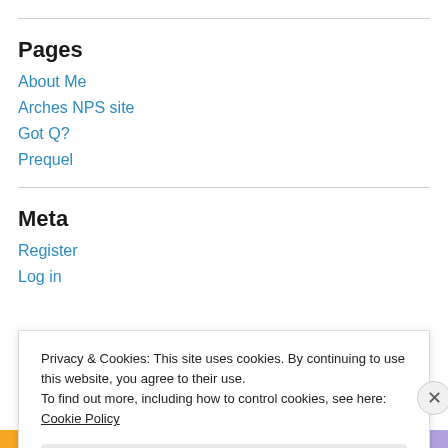Pages
About Me
Arches NPS site
Got Q?
Prequel
Meta
Register
Log in
Privacy & Cookies: This site uses cookies. By continuing to use this website, you agree to their use.
To find out more, including how to control cookies, see here: Cookie Policy
Close and accept